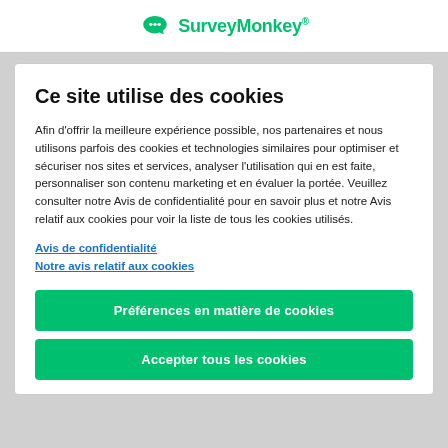SurveyMonkey
Ce site utilise des cookies
Afin d'offrir la meilleure expérience possible, nos partenaires et nous utilisons parfois des cookies et technologies similaires pour optimiser et sécuriser nos sites et services, analyser l'utilisation qui en est faite, personnaliser son contenu marketing et en évaluer la portée. Veuillez consulter notre Avis de confidentialité pour en savoir plus et notre Avis relatif aux cookies pour voir la liste de tous les cookies utilisés.
Avis de confidentialité  Notre avis relatif aux cookies
Préférences en matière de cookies
Accepter tous les cookies